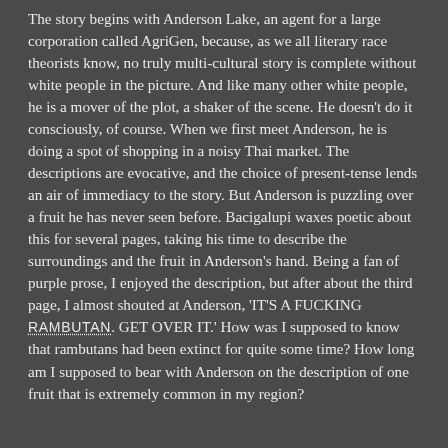The story begins with Anderson Lake, an agent for a large corporation called AgriGen, because, as we all literary race theorists know, no truly multi-cultural story is complete without white people in the picture. And like many other white people, he is a mover of the plot, a shaker of the scene. He doesn't do it consciously, of course. When we first meet Anderson, he is doing a spot of shopping in a noisy Thai market. The descriptions are evocative, and the choice of present-tense lends an air of immediacy to the story. But Anderson is puzzling over a fruit he has never seen before. Bacigalupi waxes poetic about this for several pages, taking his time to describe the surroundings and the fruit in Anderson's hand. Being a fan of purple prose, I enjoyed the description, but after about the third page, I almost shouted at Anderson, 'IT'S A FUCKING RAMBUTAN. GET OVER IT.' How was I supposed to know that rambutans had been extinct for quite some time? How long am I supposed to bear with Anderson on the description of one fruit that is extremely common in my region?
Our next introduction is to Tan Hock Seng, a Malayan refugee and Anderson Lake's assistant manager. It takes a while for me to understand what has happened to my own country in this story -